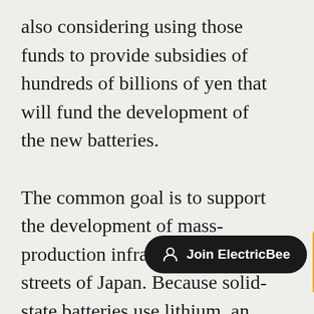also considering using those funds to provide subsidies of hundreds of billions of yen that will fund the development of the new batteries. The common goal is to support the development of mass-production infrastructure in the streets of Japan. Because solid-state batteries use lithium, an element with limited global reserves, the government will procure the material. And the rest of the world is copying. Germany's VW plans to produce solid-state batte… in union with the U.S sta… group Qingdao (Kunshan) Energy